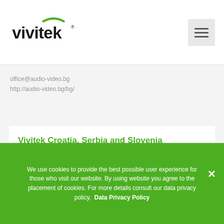[Figure (logo): Vivitek logo — stylized dark text 'vivitek' with a green arc above]
office@audio-video.bg
http://audio-video.bg/bg/
Vivitek Croatia, Serbia and Slovenia Authorised Distributor
Lukvel d.o.o
We use cookies to provide the best possible user experience for those who visit our website. By using website you agree to the placement of cookies. For more details consult our data privacy policy.  Data Privacy Policy